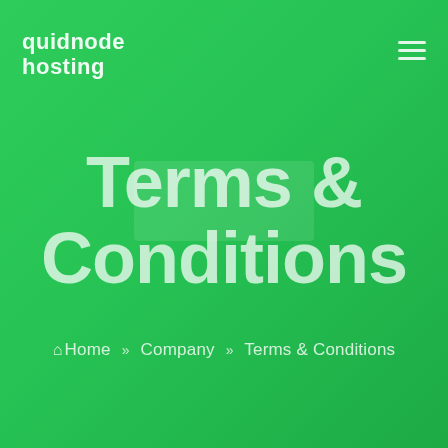[Figure (logo): quidnode hosting logo in white text, top-left corner]
[Figure (other): Hamburger menu icon (three horizontal lines) in top-right corner]
Terms & Conditions
Home » Company » Terms & Conditions